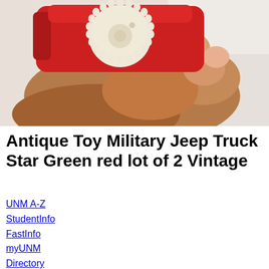[Figure (photo): A hand holding a red and cream/white toy vehicle part (appears to be a gear or wheel component of an antique toy military jeep). The background is light/white. The hand is dark-skinned. The toy piece is red plastic with a cream-colored serrated gear/wheel.]
Antique Toy Military Jeep Truck Star Green red lot of 2 Vintage
UNM A-Z
StudentInfo
FastInfo
myUNM
Directory
Research
Campus Life